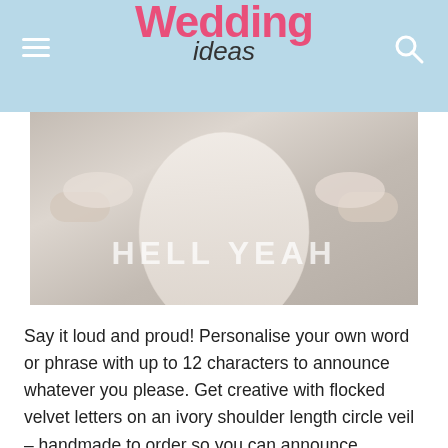Wedding ideas
[Figure (photo): Person wearing a white lace dress holding up a sheer veil with text 'HELL YEAH' printed on it in flocked velvet letters]
Say it loud and proud! Personalise your own word or phrase with up to 12 characters to announce whatever you please. Get creative with flocked velvet letters on an ivory shoulder length circle veil – handmade to order so you can announce whatever you damn well please. Your new married name? No problem! Sweet nothings for your new love? You got it! Some swears to shock your in-laws? We won't judge!